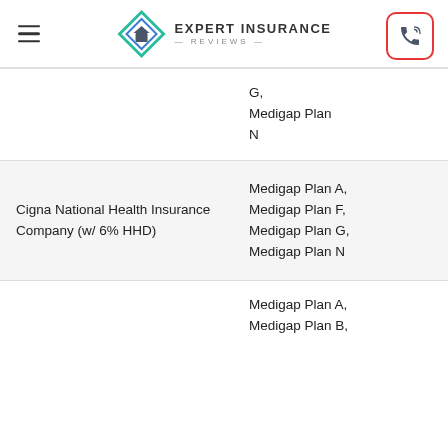Expert Insurance Reviews
| Company | Plans Available |
| --- | --- |
|  | G,
Medigap Plan N |
| Cigna National Health Insurance Company (w/ 6% HHD) | Medigap Plan A,
Medigap Plan F,
Medigap Plan G,
Medigap Plan N |
|  | Medigap Plan A,
Medigap Plan B, |